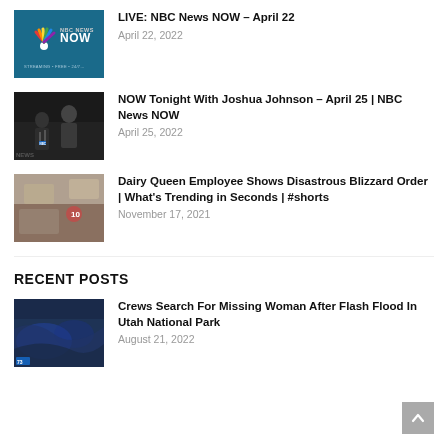[Figure (screenshot): NBC News NOW logo thumbnail – teal background with NBC peacock logo and 'NBC NEWS NOW' text and 'STREAMING FREE 24/7' tagline]
LIVE: NBC News NOW – April 22
April 22, 2022
[Figure (photo): Dark photo showing a man in suit speaking at microphones, news press conference]
NOW Tonight With Joshua Johnson – April 25 | NBC News NOW
April 25, 2022
[Figure (photo): Photo of a Dairy Queen worker/employee at a food counter with blizzard]
Dairy Queen Employee Shows Disastrous Blizzard Order | What's Trending in Seconds | #shorts
November 17, 2021
RECENT POSTS
[Figure (photo): Aerial or satellite photo with dark bluish tones, possibly flood or geographic imagery]
Crews Search For Missing Woman After Flash Flood In Utah National Park
August 21, 2022